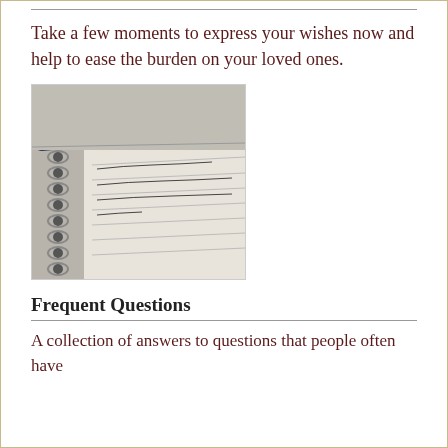Take a few moments to express your wishes now and help to ease the burden on your loved ones.
[Figure (photo): A close-up photo of a blue ballpoint pen resting on a spiral-bound notebook with handwritten text visible on the pages.]
Frequent Questions
A collection of answers to questions that people often have